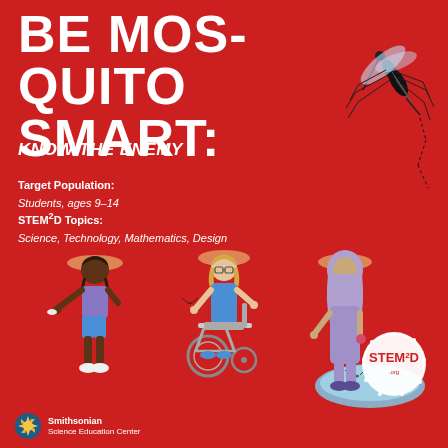BE MOSQUITO SMART:
KNOW THE ENEMY
Target Population: Students, ages 9–14
STEM²D Topics: Science, Technology, Mathematics, Design
[Figure (illustration): Three illustrated children: a dark-skinned child in purple shirt and blue shorts holding something out, a child with glasses in a blue dress in a wheelchair, and a child wearing a hijab in a purple dress holding something. All have mosquito nets over their heads. A pool of water with mosquitoes is to the right. A large mosquito illustration is in the upper right corner.]
[Figure (logo): STEM²D circular logo with dots around it]
[Figure (logo): Smithsonian Science Education Center logo with sunburst icon]